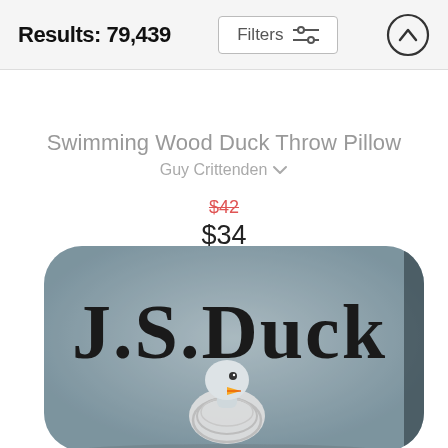Results: 79,439
Filters
Swimming Wood Duck Throw Pillow
Guy Crittenden
$42
$34
[Figure (photo): A throw pillow with a grey fabric texture showing a duck illustrated in lawyer/judge wig attire with the text 'J.S. Duck' printed on it in bold black serif letters]